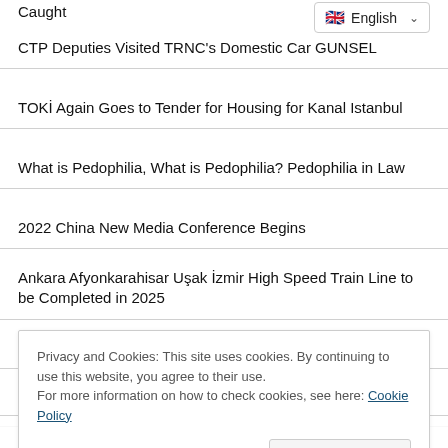Caught
[Figure (screenshot): English language selector dropdown button with UK flag icon and chevron]
CTP Deputies Visited TRNC's Domestic Car GUNSEL
TOKİ Again Goes to Tender for Housing for Kanal Istanbul
What is Pedophilia, What is Pedophilia? Pedophilia in Law
2022 China New Media Conference Begins
Ankara Afyonkarahisar Uşak İzmir High Speed Train Line to be Completed in 2025
Asthma is a Serious Public Health Problem!
What are the souvenirs that can be bought in Balıkesir?
What is a Genetic Engineer, What Does He Do, How to
Privacy and Cookies: This site uses cookies. By continuing to use this website, you agree to their use.
For more information on how to check cookies, see here: Cookie Policy
Public Transportation in Kocaeli Free On 30 August